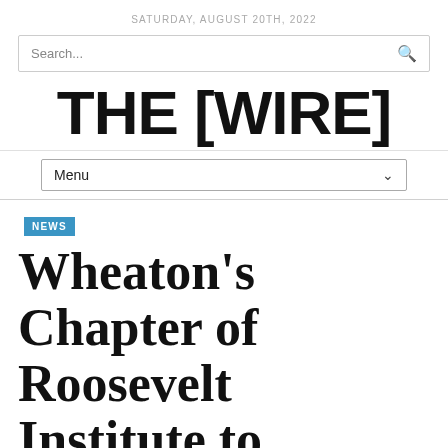SATURDAY, AUGUST 20TH, 2022
Search...
THE [WIRE]
Menu
NEWS
Wheaton's Chapter of Roosevelt Institute to Receive